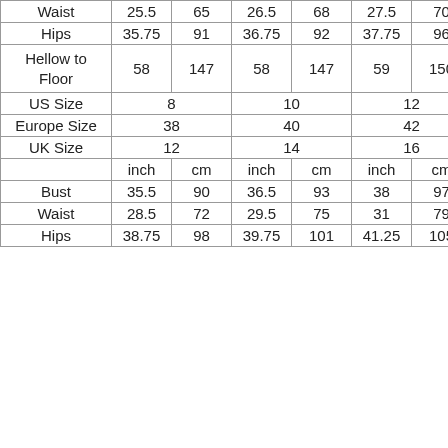|  | inch | cm | inch | cm | inch | cm |
| --- | --- | --- | --- | --- | --- | --- |
| Waist | 25.5 | 65 | 26.5 | 68 | 27.5 | 70 |
| Hips | 35.75 | 91 | 36.75 | 92 | 37.75 | 96 |
| Hellow to Floor | 58 | 147 | 58 | 147 | 59 | 150 |
| US Size | 8 |  | 10 |  | 12 |  |
| Europe Size | 38 |  | 40 |  | 42 |  |
| UK Size | 12 |  | 14 |  | 16 |  |
|  | inch | cm | inch | cm | inch | cm |
| Bust | 35.5 | 90 | 36.5 | 93 | 38 | 97 |
| Waist | 28.5 | 72 | 29.5 | 75 | 31 | 79 |
| Hips | 38.75 | 98 | 39.75 | 101 | 41.25 | 105 |